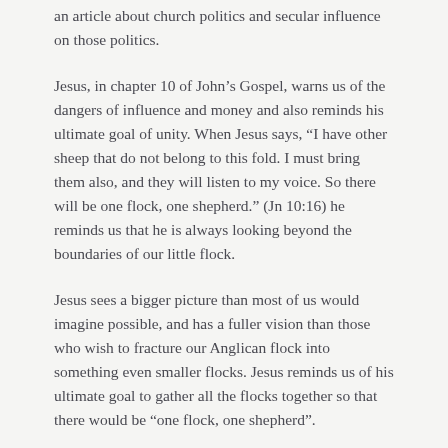an article about church politics and secular influence on those politics.
Jesus, in chapter 10 of John's Gospel, warns us of the dangers of influence and money and also reminds his ultimate goal of unity. When Jesus says, “I have other sheep that do not belong to this fold. I must bring them also, and they will listen to my voice. So there will be one flock, one shepherd.” (Jn 10:16) he reminds us that he is always looking beyond the boundaries of our little flock.
Jesus sees a bigger picture than most of us would imagine possible, and has a fuller vision than those who wish to fracture our Anglican flock into something even smaller flocks. Jesus reminds us of his ultimate goal to gather all the flocks together so that there would be “one flock, one shepherd”.